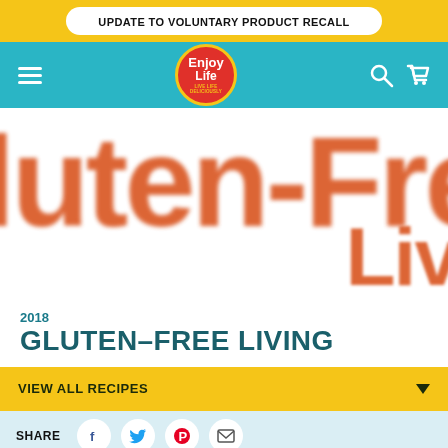UPDATE TO VOLUNTARY PRODUCT RECALL
[Figure (logo): Enjoy Life Foods logo - red circle with yellow border, white text reading Enjoy Life with yellow tagline]
[Figure (screenshot): Large blurred orange/red text reading 'gluten-Fre' (cropped) on white background, with 'Liv' visible at bottom right]
2018
GLUTEN–FREE LIVING
VIEW ALL RECIPES
SHARE